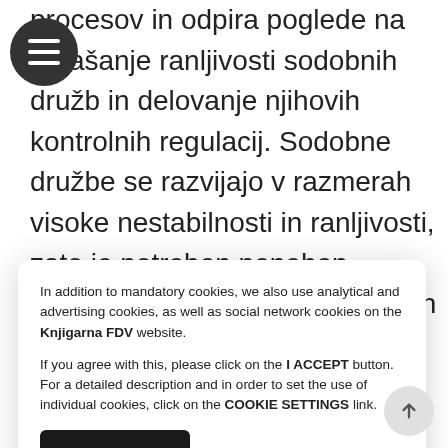procesov in odpira poglede na vprašanje ranljivosti sodobnih družb in delovanje njihovih kontrolnih regulacij. Sodobne družbe se razvijajo v razmerah visoke nestabilnosti in ranljivosti, zato je potreben nenehen premislek o pogojih in možnostih nadaljnjega razvoja. Dan je poudarek na povezanosti glavnih razvojnih dimenzij, tudi če se zdi, da so medsebojno neodvisne. To se izraža v razmerju med globalizacijo
In addition to mandatory cookies, we also use analytical and advertising cookies, as well as social network cookies on the Knjigarna FDV website.

If you agree with this, please click on the I ACCEPT button. For a detailed description and in order to set the use of individual cookies, click on the COOKIE SETTINGS link.